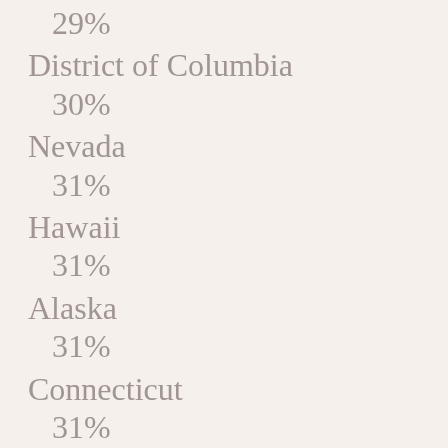29%
District of Columbia
30%
Nevada
31%
Hawaii
31%
Alaska
31%
Connecticut
31%
Washington
31%